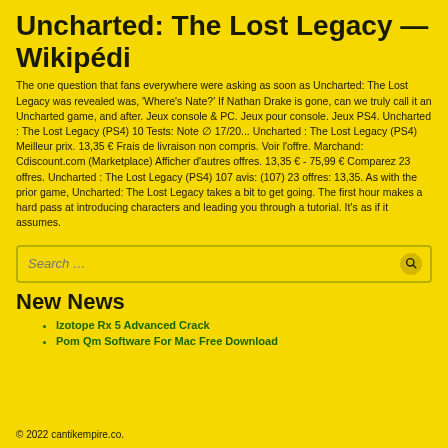Uncharted: The Lost Legacy — Wikipédi
The one question that fans everywhere were asking as soon as Uncharted: The Lost Legacy was revealed was, 'Where's Nate?' If Nathan Drake is gone, can we truly call it an Uncharted game, and after. Jeux console & PC. Jeux pour console. Jeux PS4. Uncharted : The Lost Legacy (PS4) 10 Tests: Note ∅ 17/20... Uncharted : The Lost Legacy (PS4) Meilleur prix. 13,35 € Frais de livraison non compris. Voir l'offre. Marchand: Cdiscount.com (Marketplace) Afficher d'autres offres. 13,35 € - 75,99 € Comparez 23 offres. Uncharted : The Lost Legacy (PS4) 107 avis: (107) 23 offres: 13,35. As with the prior game, Uncharted: The Lost Legacy takes a bit to get going. The first hour makes a hard pass at introducing characters and leading you through a tutorial. It's as if it assumes.
Search …
New News
Izotope Rx 5 Advanced Crack
Pom Qm Software For Mac Free Download
© 2022 cantikempire.co.